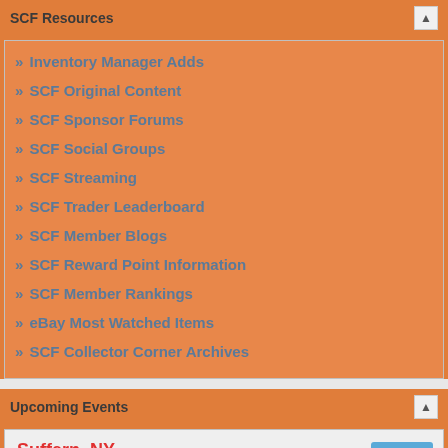SCF Resources
» Inventory Manager Adds
» SCF Original Content
» SCF Sponsor Forums
» SCF Social Groups
» SCF Streaming
» SCF Trader Leaderboard
» SCF Member Blogs
» SCF Reward Point Information
» SCF Member Rankings
» eBay Most Watched Items
» SCF Collector Corner Archives
Upcoming Events
Suffern, NY
The East Coast National
Friday August 26, 2022